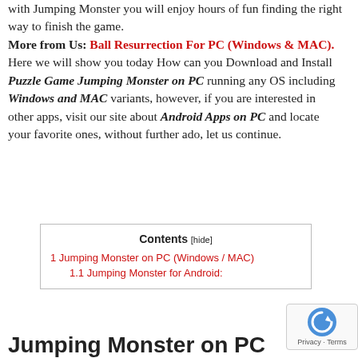with Jumping Monster you will enjoy hours of fun finding the right way to finish the game. More from Us: Ball Resurrection For PC (Windows & MAC). Here we will show you today How can you Download and Install Puzzle Game Jumping Monster on PC running any OS including Windows and MAC variants, however, if you are interested in other apps, visit our site about Android Apps on PC and locate your favorite ones, without further ado, let us continue.
| Contents [hide] |
| --- |
| 1 Jumping Monster on PC (Windows / MAC) |
| 1.1 Jumping Monster for Android: |
Jumping Monster on PC